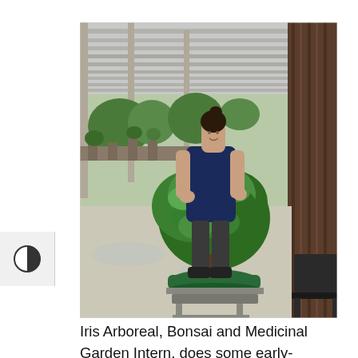[Figure (photo): A young woman in a navy t-shirt and dark shorts stands under a wooden pergola structure, pruning a large bonsai tree in a green container on a metal stand. Other bonsai trees are visible in the background on tables.]
Iris Arboreal, Bonsai and Medicinal Garden Intern, does some early-morning pruning on a bonsai at Matthaei's Bonsai and Penjing